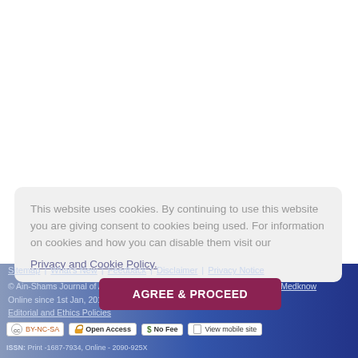This website uses cookies. By continuing to use this website you are giving consent to cookies being used. For information on cookies and how you can disable them visit our
Privacy and Cookie Policy.
Sitemap | What's New | Feedback | Disclaimer | Privacy Notice
© Ain-Shams Journal of Anaesthesiology | Published by Wolters Kluwer - Medknow
Online since 1st Jan, 2014
AGREE & PROCEED
Editorial and Ethics Policies
ISSN: Print -1687-7934, Online - 2090-925X